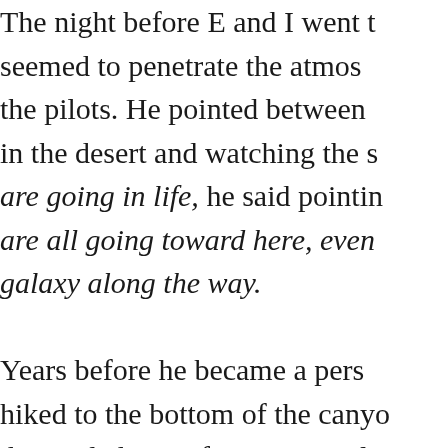The night before E and I went to seemed to penetrate the atmos the pilots. He pointed between in the desert and watching the s are going in life, he said pointin are all going toward here, even galaxy along the way.

Years before he became a pers hiked to the bottom of the canyo descended 4860 feet in 6.3 mile Bright Angel trail for 7.8 miles c our fingers along its red and bro from exertion and wilderness. T unpredictable fold. We lay on o wind and drift, flanked by sky a

Breathe in, you're doing fine, ke